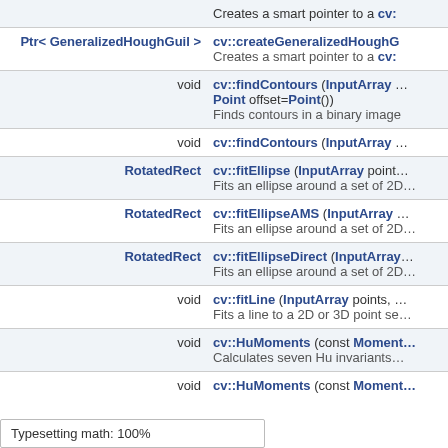| Return | Function |
| --- | --- |
|  | Creates a smart pointer to a cv:: |
| Ptr< GeneralizedHoughGuil > | cv::createGeneralizedHoughG…
Creates a smart pointer to a cv:: |
| void | cv::findContours (InputArray …
Point offset=Point())
Finds contours in a binary image |
| void | cv::findContours (InputArray … |
| RotatedRect | cv::fitEllipse (InputArray point…
Fits an ellipse around a set of 2D… |
| RotatedRect | cv::fitEllipseAMS (InputArray …
Fits an ellipse around a set of 2D… |
| RotatedRect | cv::fitEllipseDirect (InputArray…
Fits an ellipse around a set of 2D… |
| void | cv::fitLine (InputArray points, …
Fits a line to a 2D or 3D point se… |
| void | cv::HuMoments (const Moment…
Calculates seven Hu invariants… |
| void | cv::HuMoments (const Moment… |
Typesetting math: 100%